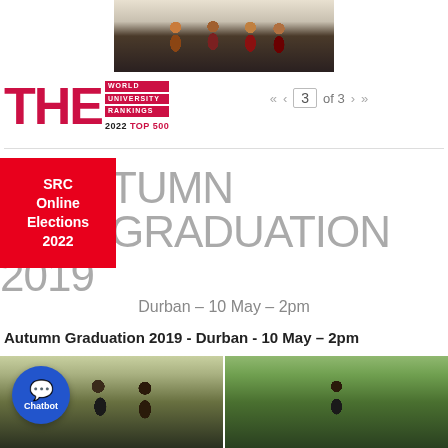[Figure (photo): Graduation ceremony photo showing people in academic robes seated on stage]
[Figure (logo): THE World University Rankings 2022 Top 500 logo]
« ‹ 3 of 3 › »
[Figure (infographic): Red banner reading SRC Online Elections 2022]
AUTUMN GRADUATION 2019
Durban – 10 May – 2pm
Autumn Graduation 2019 - Durban - 10 May – 2pm
[Figure (photo): Two graduation photos side by side: left shows graduates with family, right shows a graduate in academic gown holding a certificate outdoors]
[Figure (other): Chatbot button icon]